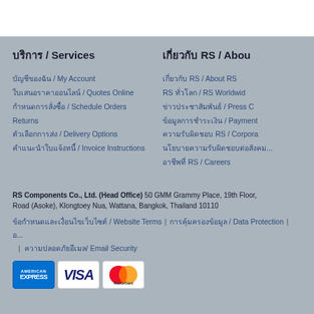บริการ / Services
บัญชีของฉัน / My Account
ใบเสนอราคาออนไลน์ / Quotes Online
กำหนดการสั่งซื้อ / Schedule Orders
Returns
ตัวเลือกการส่ง / Delivery Options
คำแนะนำใบแจ้งหนี้ / Invoice Instructions
เกี่ยวกับ RS / About RS
เกี่ยวกับ RS / About RS
RS ทั่วโลก / RS Worldwide
ข่าวประชาสัมพันธ์ / Press C...
ข้อมูลการชำระเงิน / Payment...
ความรับผิดชอบ RS / Corpora...
นโยบายความรับผิดชอบต่อสังคม...
อาชีพที่ RS / Careers
RS Components Co., Ltd. (Head Office) 50 GMM Grammy Place, 19th Floor, Road (Asoke), Klongtoey Nua, Wattana, Bangkok, Thailand 10110
ข้อกำหนดและเงื่อนไขเว็บไซต์ / Website Terms
การคุ้มครองข้อมูล / Data Protection
ความปลอดภัยอีเมล/ Email Security
[Figure (logo): American Express, Visa, and MasterCard payment logos]